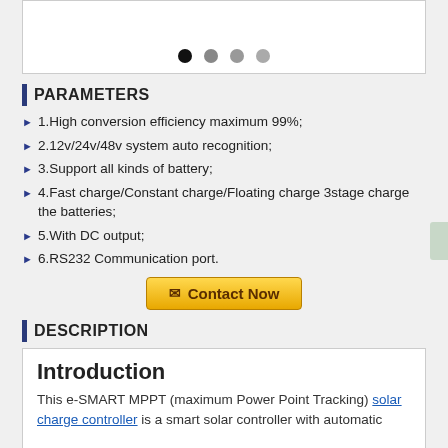[Figure (other): Product image carousel area with navigation dots (one black active dot and three gray inactive dots)]
PARAMETERS
1.High conversion efficiency maximum 99%;
2.12v/24v/48v system auto recognition;
3.Support all kinds of battery;
4.Fast charge/Constant charge/Floating charge 3stage charge the batteries;
5.With DC output;
6.RS232 Communication port.
[Figure (other): Contact Now button with envelope icon, gold/yellow gradient background]
DESCRIPTION
Introduction
This e-SMART MPPT (maximum Power Point Tracking) solar charge controller is a smart solar controller with automatic